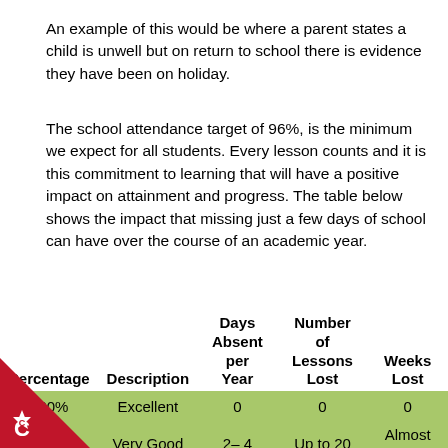An example of this would be where a parent states a child is unwell but on return to school there is evidence they have been on holiday.
The school attendance target of 96%, is the minimum we expect for all students. Every lesson counts and it is this commitment to learning that will have a positive impact on attainment and progress. The table below shows the impact that missing just a few days of school can have over the course of an academic year.
| Percentage | Description | Days Absent per Year | Number of Lessons Lost | Weeks Lost |
| --- | --- | --- | --- | --- |
| 100% | Excellent | 0 | 0 | 0 |
| 99% | Very Good | 2– 4 | Up to 20 | Almost one |